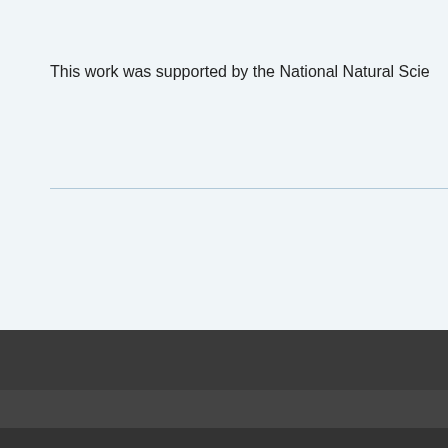This work was supported by the National Natural Scie...
DALIAN INSTIT
Welcome
Opportunities
Education
Campus Map
Contact
Copyright 1999-2020. Dalian I